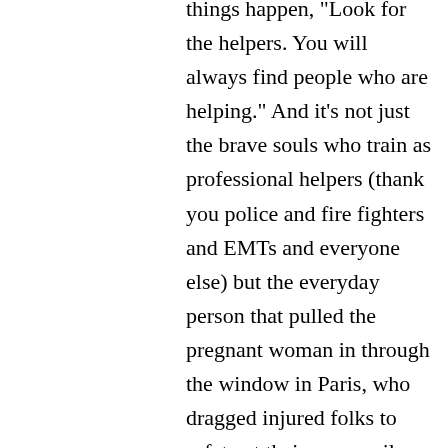things happen, "Look for the helpers. You will always find people who are helping." And it's not just the brave souls who train as professional helpers (thank you police and fire fighters and EMTs and everyone else) but the everyday person that pulled the pregnant woman in through the window in Paris, who dragged injured folks to safety at their own peril. The people who stop to help at